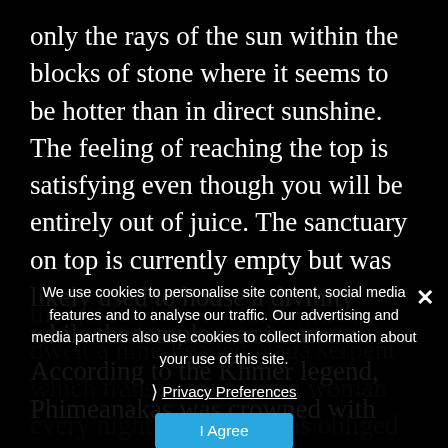only the rays of the sun within the blocks of stone where it seems to be hotter than in direct sunshine. The feeling of reaching the top is satisfying even though you will be entirely out of juice. The sanctuary on top is currently empty but was likely used to house a divinity while the temple was in use. According to the Khmer legend, Phimeanakas was crowned with
the golden tower within which dwelt a nine-headed Naga serpent which transformed into a woman every night. The king was obliged to make love to this serpent every night, otherwise the kingdom would fall into ruin. I guess one of the kings failed to please the powerful Angkorian kingdom to eventually fall into ruin.
We use cookies to personalise site content, social media features and to analyse our traffic. Our advertising and media partners also use cookies to collect information about your use of this site.
Privacy Preferences
I Agree